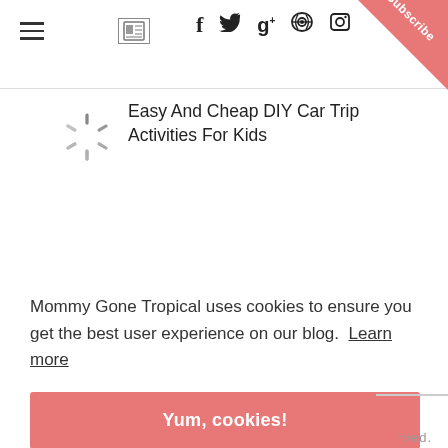≡  🗞  f  t  g+   Pinterest  Instagram  Subscribe
[Figure (illustration): Spinning/loading wheel icon — circular spinner with radiating lines in grey]
Easy And Cheap DIY Car Trip Activities For Kids
Mommy Gone Tropical uses cookies to ensure you get the best user experience on our blog.  Learn more
Yum, cookies!
rved.